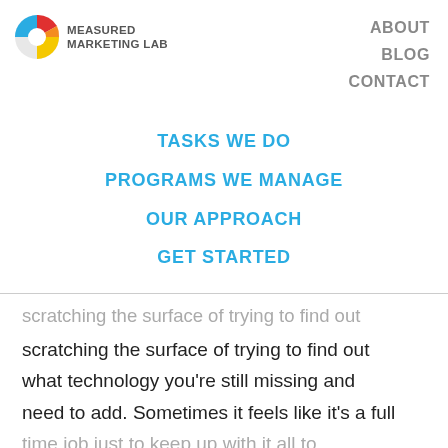[Figure (logo): Measured Marketing Lab logo: pie chart icon with blue, red, orange and yellow segments, next to bold text 'MEASURED MARKETING LAB']
ABOUT
BLOG
CONTACT
TASKS WE DO
PROGRAMS WE MANAGE
OUR APPROACH
GET STARTED
scratching the surface of trying to find out what technology you're still missing and need to add. Sometimes it feels like it's a full time job just to keep up with it all to...